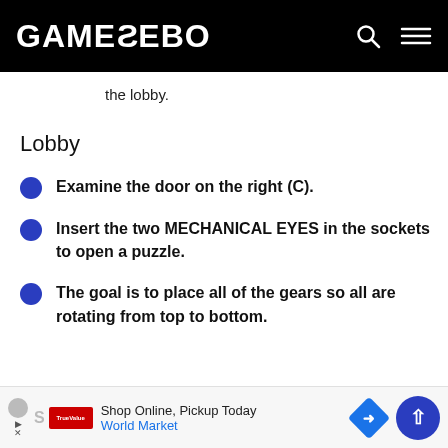GAMEZEBO
the lobby.
Lobby
Examine the door on the right (C).
Insert the two MECHANICAL EYES in the sockets to open a puzzle.
The goal is to place all of the gears so all are rotating from top to bottom.
Shop Online, Pickup Today  World Market